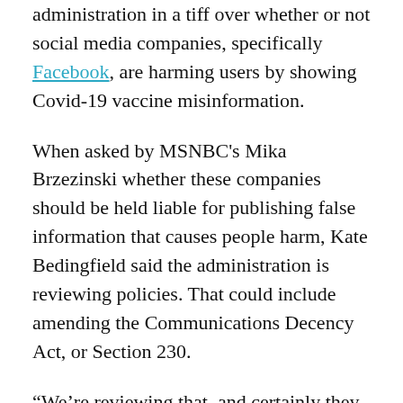administration in a tiff over whether or not social media companies, specifically Facebook, are harming users by showing Covid-19 vaccine misinformation.
When asked by MSNBC's Mika Brzezinski whether these companies should be held liable for publishing false information that causes people harm, Kate Bedingfield said the administration is reviewing policies. That could include amending the Communications Decency Act, or Section 230.
“We’re reviewing that, and certainly they should be held accountable,” Bedingfield said. “And I think you’ve heard the president speak very aggressively about this. He understands this is an important piece of the ecosystem.”
White House press secretary Jen Psaki previously said the